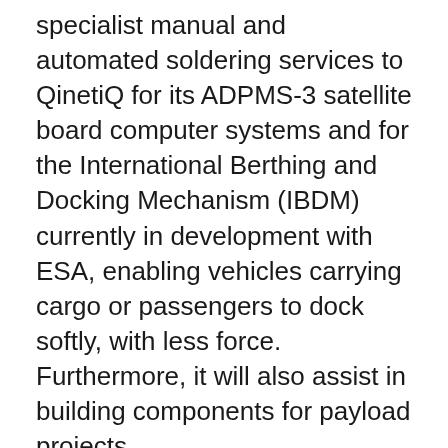specialist manual and automated soldering services to QinetiQ for its ADPMS-3 satellite board computer systems and for the International Berthing and Docking Mechanism (IBDM) currently in development with ESA, enabling vehicles carrying cargo or passengers to dock softly, with less force. Furthermore, it will also assist in building components for payload projects.
ST Engineering iDirect's MCC Sales and Marketing Manager, Danny De Smet said: “The process of becoming ESA-certified has been incredibly thorough in assuring the quality, the education and capabilities of the MCC and its workforce. This accreditation and the additional